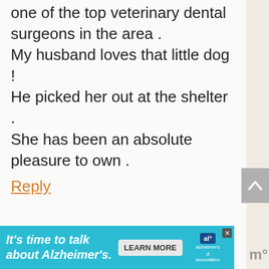one of the top veterinary dental surgeons in the area . My husband loves that little dog ! He picked her out at the shelter . She has been an absolute pleasure to own .
Reply
Julie A Haines says
[Figure (screenshot): Advertisement banner: 'It's time to talk about Alzheimer's.' with Learn More button and Alzheimer's Association logo]
[Figure (other): Scroll-to-top button (gray arrow up)]